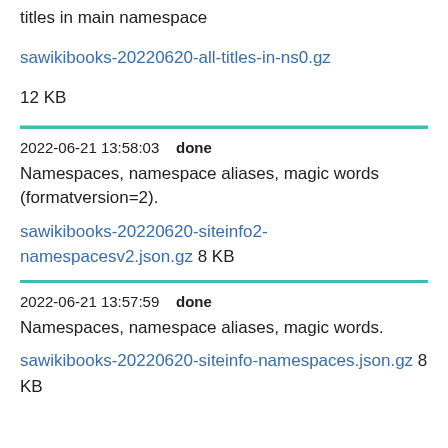titles in main namespace
sawikibooks-20220620-all-titles-in-ns0.gz 12 KB
2022-06-21 13:58:03    done
Namespaces, namespace aliases, magic words (formatversion=2).
sawikibooks-20220620-siteinfo2-namespacesv2.json.gz 8 KB
2022-06-21 13:57:59    done
Namespaces, namespace aliases, magic words.
sawikibooks-20220620-siteinfo-namespaces.json.gz 8 KB